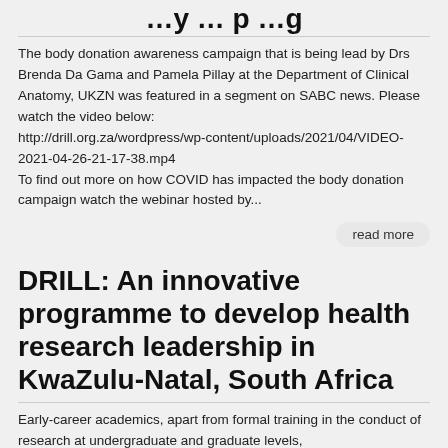…y … p …g
The body donation awareness campaign that is being lead by Drs Brenda Da Gama and Pamela Pillay at the Department of Clinical Anatomy, UKZN was featured in a segment on SABC news. Please watch the video below: http://drill.org.za/wordpress/wp-content/uploads/2021/04/VIDEO-2021-04-26-21-17-38.mp4 To find out more on how COVID has impacted the body donation campaign watch the webinar hosted by...
read more
DRILL: An innovative programme to develop health research leadership in KwaZulu-Natal, South Africa
Early-career academics, apart from formal training in the conduct of research at undergraduate and graduate levels,